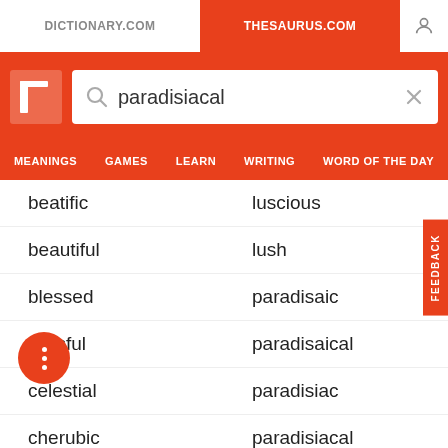DICTIONARY.COM | THESAURUS.COM
[Figure (screenshot): Thesaurus.com website header with search bar showing 'paradisiacal' and navigation menu with MEANINGS, GAMES, LEARN, WRITING, WORD OF THE DAY]
beatific | luscious
beautiful | lush
blessed | paradisaic
blissful | paradisaical
celestial | paradisiac
cherubic | paradisiacal
darling | rapturous
electable | ravishing
delicious | scrumptious